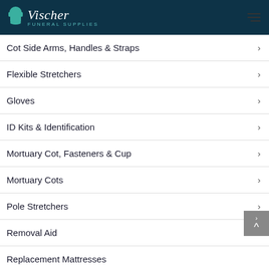Vischer Funeral Supplies
Cot Side Arms, Handles & Straps
Flexible Stretchers
Gloves
ID Kits & Identification
Mortuary Cot, Fasteners & Cup
Mortuary Cots
Pole Stretchers
Removal Aid
Replacement Mattresses
Restraints
Scoop Stretchers